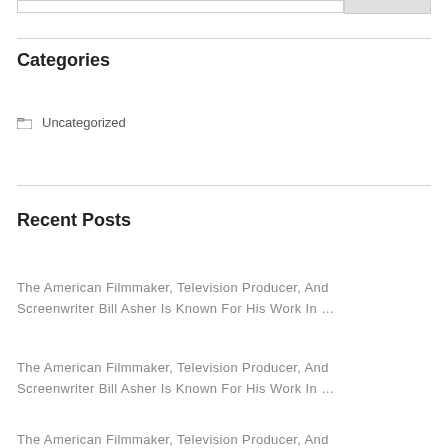Categories
Uncategorized
Recent Posts
The American Filmmaker, Television Producer, And Screenwriter Bill Asher Is Known For His Work In …
The American Filmmaker, Television Producer, And Screenwriter Bill Asher Is Known For His Work In …
The American Filmmaker, Television Producer, And